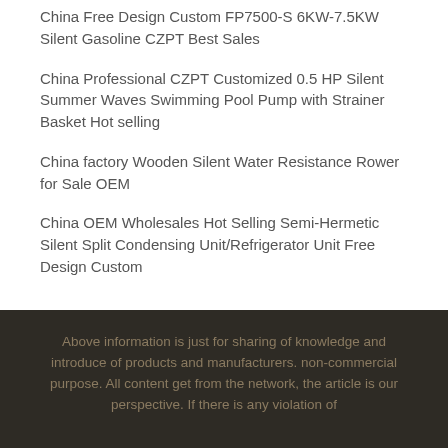China Free Design Custom FP7500-S 6KW-7.5KW Silent Gasoline CZPT Best Sales
China Professional CZPT Customized 0.5 HP Silent Summer Waves Swimming Pool Pump with Strainer Basket Hot selling
China factory Wooden Silent Water Resistance Rower for Sale OEM
China OEM Wholesales Hot Selling Semi-Hermetic Silent Split Condensing Unit/Refrigerator Unit Free Design Custom
Above information is just for sharing of knowledge and introduce of products and manufacturers. non-commercial purpose. All content get from the network, the article is our perspective. If there is any violation of